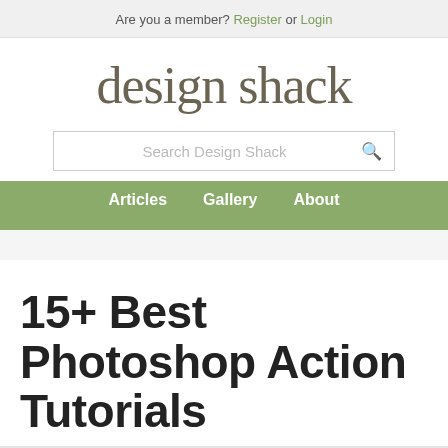Are you a member? Register or Login
design shack
Search Design Shack
Articles   Gallery   About
15+ Best Photoshop Action Tutorials